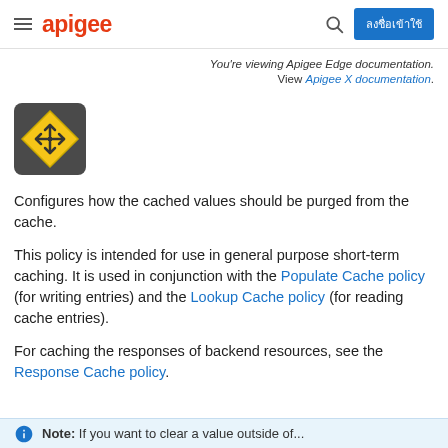apigee | ลงชื่อเข้าใช้
You're viewing Apigee Edge documentation.
View Apigee X documentation.
[Figure (illustration): Yellow diamond-shaped icon with four-directional arrows on a dark gray background]
Configures how the cached values should be purged from the cache.
This policy is intended for use in general purpose short-term caching. It is used in conjunction with the Populate Cache policy (for writing entries) and the Lookup Cache policy (for reading cache entries).
For caching the responses of backend resources, see the Response Cache policy.
Note: If you want to clear a value outside of...